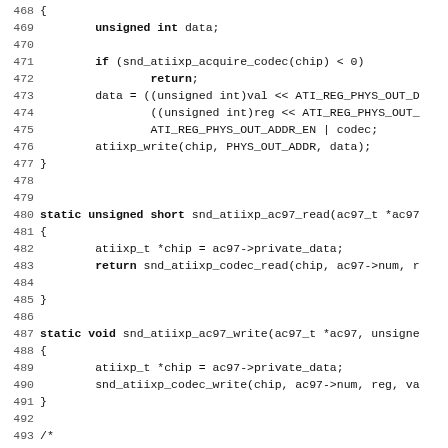[Figure (screenshot): Source code listing showing C functions snd_atiixp_codec_write, snd_atiixp_ac97_read, snd_atiixp_ac97_write, and beginning of snd_atiixp_aclink_reset, with line numbers 468-499.]